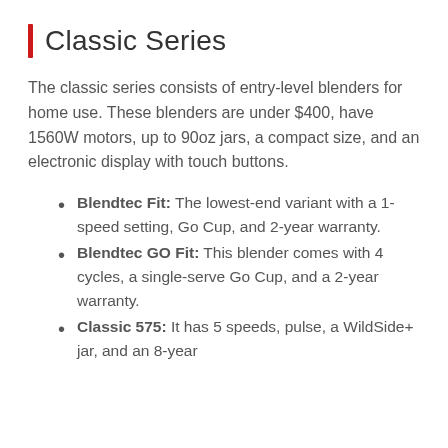Classic Series
The classic series consists of entry-level blenders for home use. These blenders are under $400, have 1560W motors, up to 90oz jars, a compact size, and an electronic display with touch buttons.
Blendtec Fit: The lowest-end variant with a 1-speed setting, Go Cup, and 2-year warranty.
Blendtec GO Fit: This blender comes with 4 cycles, a single-serve Go Cup, and a 2-year warranty.
Classic 575: It has 5 speeds, pulse, a WildSide+ jar, and an 8-year